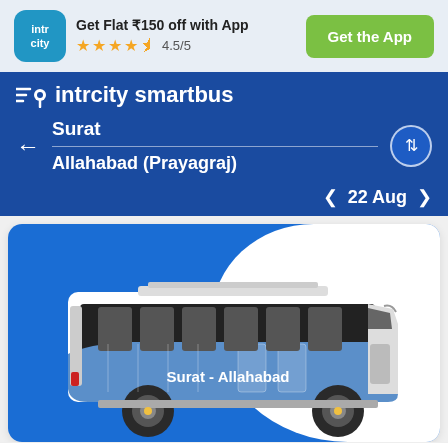Get Flat ₹150 off with App
4.5/5
Get the App
intrcity smartbus
Surat
Allahabad (Prayagraj)
22 Aug
[Figure (illustration): Illustration of a blue and white intercity coach bus labeled 'Surat - Allahabad' on a blue background with white blob shape]
Trip Overview